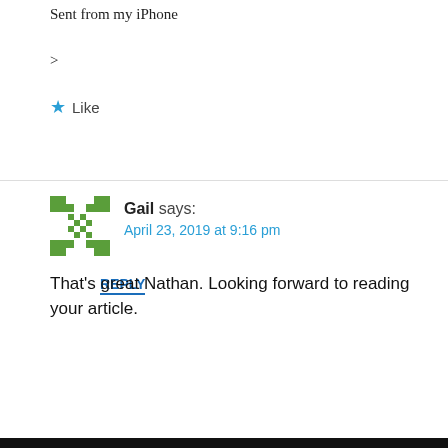Sent from my iPhone
>
★ Like
REPLY
Gail says:
April 23, 2019 at 9:16 pm
That's great Nathan. Looking forward to reading your article.
Privacy & Cookies: This site uses cookies. By continuing to use this website, you agree to their use.
To find out more, including how to control cookies, see here: Cookie Policy
Close and accept